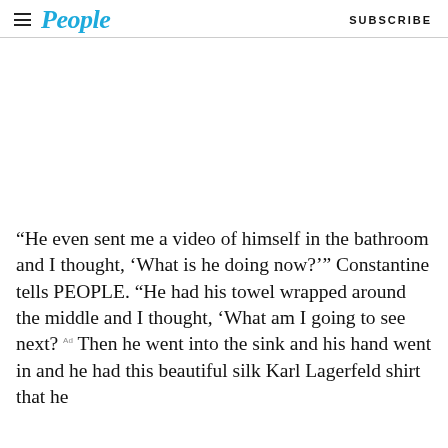People  SUBSCRIBE
[Figure (photo): Empty white space / image placeholder area]
“He even sent me a video of himself in the bathroom and I thought, ‘What is he doing now?’” Constantine tells PEOPLE. “He had his towel wrapped around the middle and I thought, ‘What am I going to see next? Then he went into the sink and his hand went in and he had this beautiful silk Karl Lagerfeld shirt that he